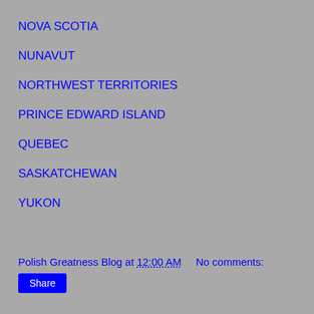NOVA SCOTIA
NUNAVUT
NORTHWEST TERRITORIES
PRINCE EDWARD ISLAND
QUEBEC
SASKATCHEWAN
YUKON
Polish Greatness Blog at 12:00 AM    No comments:
Share